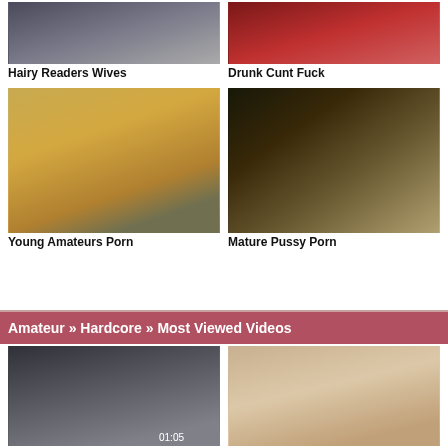[Figure (photo): Thumbnail image top-left: Hairy Readers Wives]
Hairy Readers Wives
[Figure (photo): Thumbnail image top-right: Drunk Cunt Fuck]
Drunk Cunt Fuck
[Figure (photo): Thumbnail image mid-left: Young Amateurs Porn]
Young Amateurs Porn
[Figure (photo): Thumbnail image mid-right: Mature Pussy Porn]
Mature Pussy Porn
Amateur » Hardcore » Most Viewed Videos
[Figure (photo): Bottom left video thumbnail]
[Figure (photo): Bottom right video thumbnail]